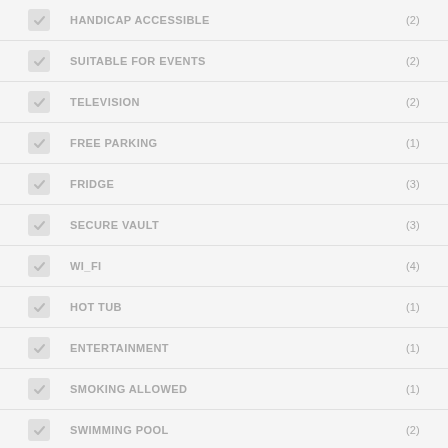HANDICAP ACCESSIBLE (2)
SUITABLE FOR EVENTS (2)
TELEVISION (2)
FREE PARKING (1)
FRIDGE (3)
SECURE VAULT (3)
WI_FI (4)
HOT TUB (1)
ENTERTAINMENT (1)
SMOKING ALLOWED (1)
SWIMMING POOL (2)